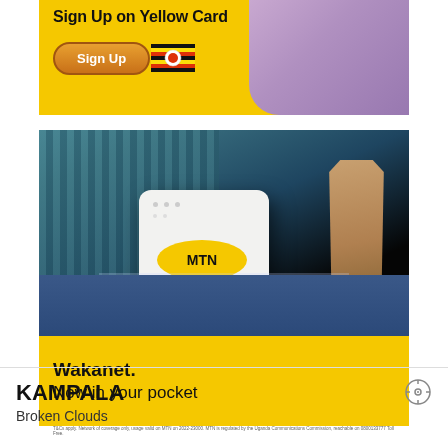[Figure (photo): Yellow Card advertisement banner with 'Sign Up on Yellow Card' text, a Sign Up button, Uganda flag, and a person in background]
[Figure (photo): MTN Wakanet advertisement showing a white MTN router device being placed in a denim pocket. Yellow bottom bar reads 'Wakanet. Now in your pocket' with small print disclaimer at bottom.]
KAMPALA
Broken Clouds